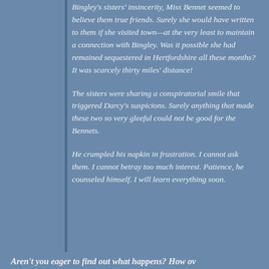Bingley's sisters' insincerity, Miss Bennet seemed to believe them true friends. Surely she would have written to them if she visited town—at the very least to maintain a connection with Bingley. Was it possible she had remained sequestered in Hertfordshire all these months? It was scarcely thirty miles' distance!
The sisters were sharing a conspiratorial smile that triggered Darcy's suspicions. Surely anything that made these two so very gleeful could not be good for the Bennets.
He crumpled his napkin in frustration. I cannot ask them. I cannot betray too much interest. Patience, he counseled himself. I will learn everything soon.
Aren't you eager to find out what happens? How ov...